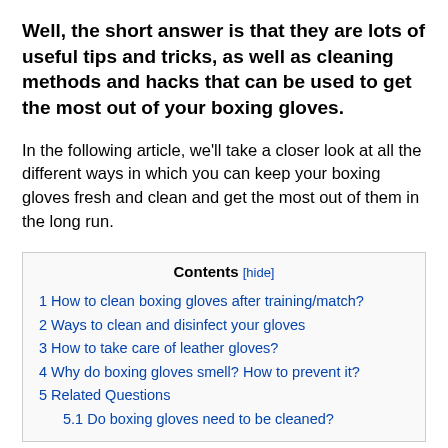Well, the short answer is that they are lots of useful tips and tricks, as well as cleaning methods and hacks that can be used to get the most out of your boxing gloves.
In the following article, we'll take a closer look at all the different ways in which you can keep your boxing gloves fresh and clean and get the most out of them in the long run.
Contents [hide]
1 How to clean boxing gloves after training/match?
2 Ways to clean and disinfect your gloves
3 How to take care of leather gloves?
4 Why do boxing gloves smell? How to prevent it?
5 Related Questions
5.1 Do boxing gloves need to be cleaned?